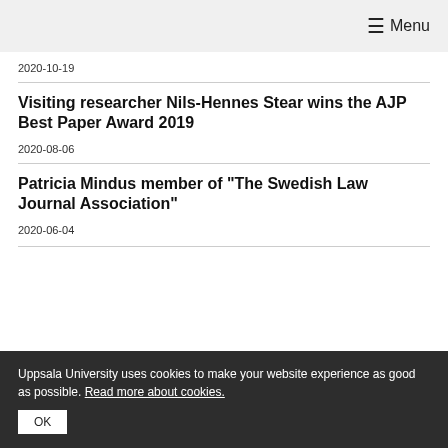≡ Menu
2020-10-19
Visiting researcher Nils-Hennes Stear wins the AJP Best Paper Award 2019
2020-08-06
Patricia Mindus member of "The Swedish Law Journal Association"
2020-06-04
Uppsala University uses cookies to make your website experience as good as possible. Read more about cookies.